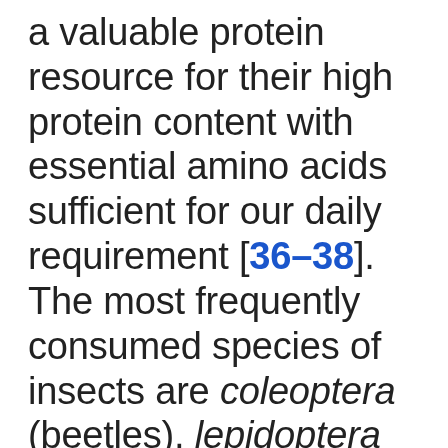a valuable protein resource for their high protein content with essential amino acids sufficient for our daily requirement [36–38]. The most frequently consumed species of insects are coleoptera (beetles), lepidoptera (caterpillars), hymenoptera (ants, wasps, and bees),